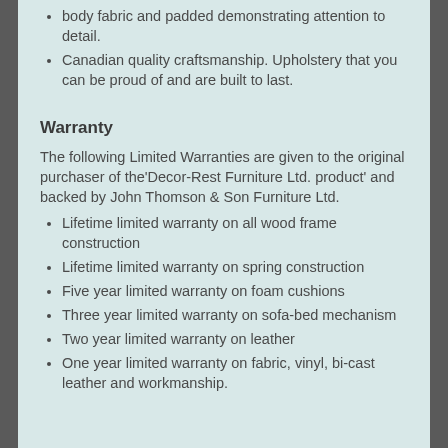body fabric and padded demonstrating attention to detail.
Canadian quality craftsmanship. Upholstery that you can be proud of and are built to last.
Warranty
The following Limited Warranties are given to the original purchaser of the'Decor-Rest Furniture Ltd. product' and backed by John Thomson & Son Furniture Ltd.
Lifetime limited warranty on all wood frame construction
Lifetime limited warranty on spring construction
Five year limited warranty on foam cushions
Three year limited warranty on sofa-bed mechanism
Two year limited warranty on leather
One year limited warranty on fabric, vinyl, bi-cast leather and workmanship.